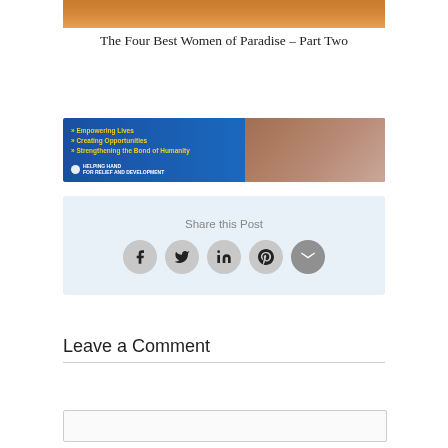[Figure (photo): Hero image at top of article page, warm orange/brown tones]
The Four Best Women of Paradise – Part Two
[Figure (infographic): Helping Hand for Relief and Development banner ad with blue background, bullet points: Empowering Lives, Creating Opportunities, Strengthening the Bond of Humanity, with logo and people photo]
Share this Post
[Figure (infographic): Social share buttons: Facebook, Twitter, LinkedIn, Pinterest, Email icons in circular buttons on light blue background]
Leave a Comment
[Figure (screenshot): Empty comment text input box]